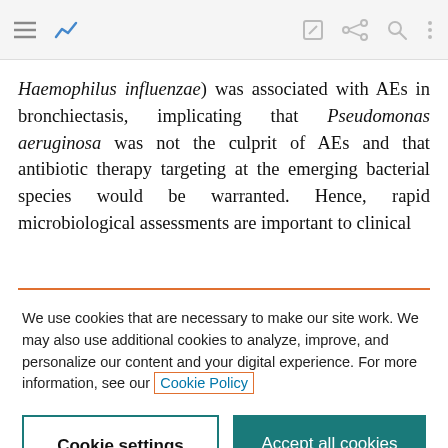[Figure (screenshot): Mobile browser toolbar with hamburger menu, analytics icon, edit icon, share icon, search icon, and vertical dots menu icon]
Haemophilus influenzae) was associated with AEs in bronchiectasis, implicating that Pseudomonas aeruginosa was not the culprit of AEs and that antibiotic therapy targeting at the emerging bacterial species would be warranted. Hence, rapid microbiological assessments are important to clinical
We use cookies that are necessary to make our site work. We may also use additional cookies to analyze, improve, and personalize our content and your digital experience. For more information, see our Cookie Policy
Cookie settings
Accept all cookies